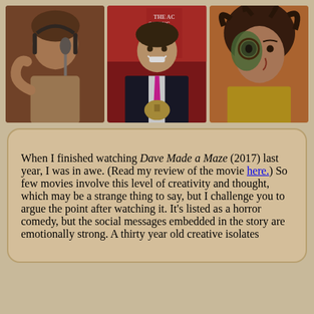[Figure (photo): Three photos of the same actor: left - man at recording mic with headphones, center - man in black suit with pink tie at an event with Science Fantasy Film sign, right - man with face paint and wild hair in a horror film scene]
When I finished watching Dave Made a Maze (2017) last year, I was in awe. (Read my review of the movie here.) So few movies involve this level of creativity and thought, which may be a strange thing to say, but I challenge you to argue the point after watching it. It's listed as a horror comedy, but the social messages embedded in the story are emotionally strong. A thirty year old creative isolates